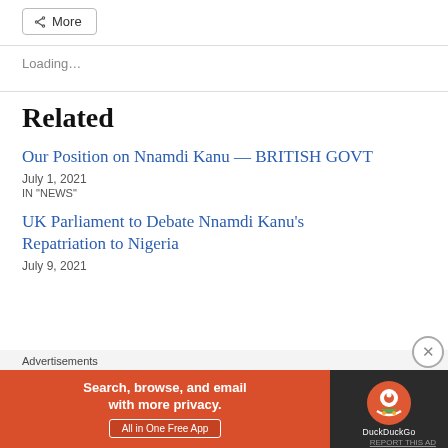[Figure (other): More share button with icon]
Loading...
Related
Our Position on Nnamdi Kanu — BRITISH GOVT
July 1, 2021
IN "NEWS"
UK Parliament to Debate Nnamdi Kanu's Repatriation to Nigeria
July 9, 2021
[Figure (other): DuckDuckGo advertisement banner: Search, browse, and email with more privacy. All in One Free App]